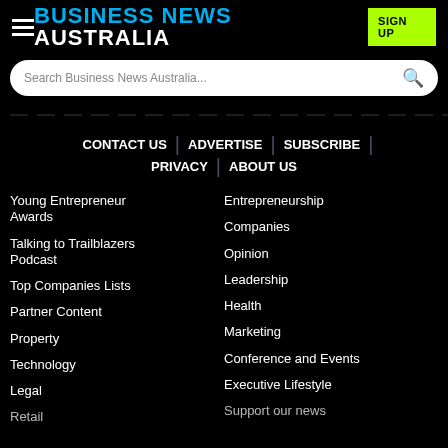BUSINESS NEWS AUSTRALIA
Search Business News Australia...
CONTACT US | ADVERTISE | SUBSCRIBE | PRIVACY | ABOUT US
Young Entrepreneur Awards
Talking to Trailblazers Podcast
Top Companies Lists
Partner Content
Property
Technology
Legal
Retail
Entrepreneurship
Companies
Opinion
Leadership
Health
Marketing
Conference and Events
Executive Lifestyle
Support our news